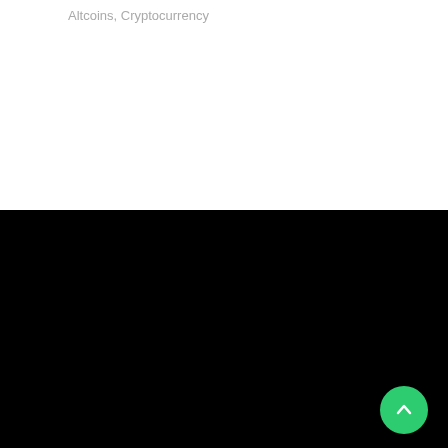Altcoins, Cryptocurrency
[Figure (logo): The Global Mail logo with teal geometric icon and white bold text]
Popular Coins
Stellar Lumens (XLM)
Bitcoin (BTC)
Ethereum (ETH)
Ripple (XRP)
Bitcoin Cash (BCH)